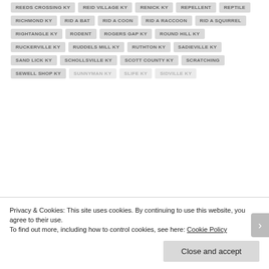REEDS CROSSING KY
REID VILLAGE KY
RENICK KY
REPELLENT
REPTILE
RICHMOND KY
RID A BAT
RID A COON
RID A RACCOON
RID A SQUIRREL
RIGHTANGLE KY
RODENT
ROGERS GAP KY
ROUND HILL KY
RUCKERVILLE KY
RUDDELS MILL KY
RUTHTON KY
SADIEVILLE KY
SAND LICK KY
SCHOLLSVILLE KY
SCOTT COUNTY KY
SCRATCHING
SEWELL SHOP KY
Privacy & Cookies: This site uses cookies. By continuing to use this website, you agree to their use.
To find out more, including how to control cookies, see here: Cookie Policy
Close and accept